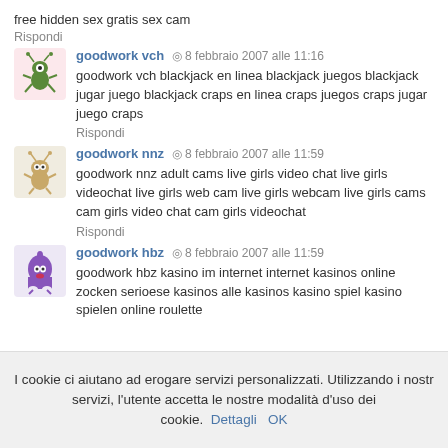free hidden sex gratis sex cam
Rispondi
goodwork vch  ◎  8 febbraio 2007 alle 11:16
goodwork vch blackjack en linea blackjack juegos blackjack jugar juego blackjack craps en linea craps juegos craps jugar juego craps
Rispondi
goodwork nnz  ◎  8 febbraio 2007 alle 11:59
goodwork nnz adult cams live girls video chat live girls videochat live girls web cam live girls webcam live girls cams cam girls video chat cam girls videochat
Rispondi
goodwork hbz  ◎  8 febbraio 2007 alle 11:59
goodwork hbz kasino im internet internet kasinos online zocken serioese kasinos alle kasinos kasino spiel kasino spielen online roulette
I cookie ci aiutano ad erogare servizi personalizzati. Utilizzando i nostri servizi, l'utente accetta le nostre modalità d'uso dei cookie.